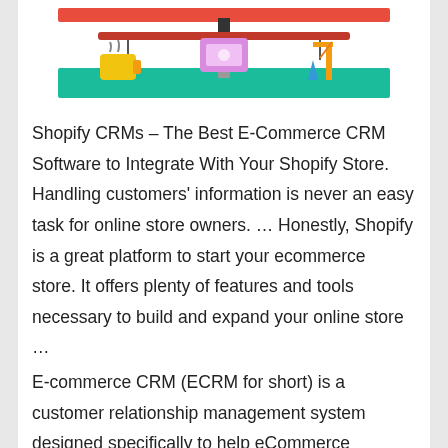[Figure (illustration): Colorful illustration of a balance scale on a teal/green table surface with a yellow coffee cup on the left side, a pink/purple monitor in the center, and construction items (blue cone, yellow crane) on the right side, with a red bar across the top.]
Shopify CRMs – The Best E-Commerce CRM Software to Integrate With Your Shopify Store. Handling customers' information is never an easy task for online store owners. … Honestly, Shopify is a great platform to start your ecommerce store. It offers plenty of features and tools necessary to build and expand your online store …
E-commerce CRM (ECRM for short) is a customer relationship management system designed specifically to help eCommerce businesses manage customer contact information, purchasing behavior,